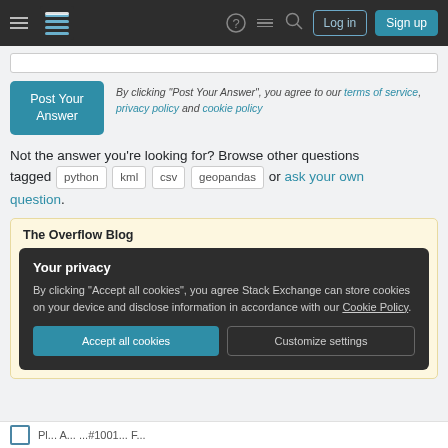Stack Exchange navigation bar with hamburger menu, logo, question mark icon, stacked lines icon, search icon, Log in button, Sign up button
By clicking “Post Your Answer”, you agree to our terms of service, privacy policy and cookie policy
Not the answer you’re looking for? Browse other questions tagged python kml csv geopandas or ask your own question.
The Overflow Blog
Your privacy
By clicking “Accept all cookies”, you agree Stack Exchange can store cookies on your device and disclose information in accordance with our Cookie Policy.
Accept all cookies   Customize settings